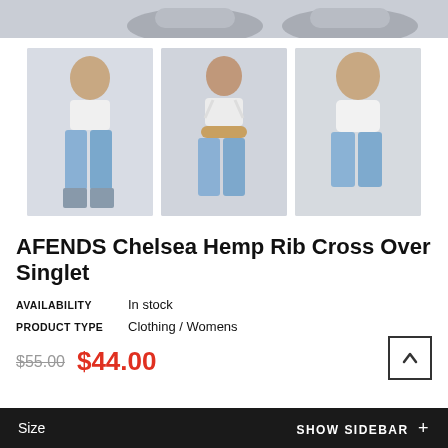[Figure (photo): Partial top view of sneakers/shoes at top of page]
[Figure (photo): Three product thumbnail photos of a woman wearing the AFENDS Chelsea Hemp Rib Cross Over Singlet (white crop top) with blue jeans: front full-body view, back view, and close-up front view]
AFENDS Chelsea Hemp Rib Cross Over Singlet
AVAILABILITY   In stock
PRODUCT TYPE   Clothing / Womens
$55.00  $44.00
Size   SHOW SIDEBAR +